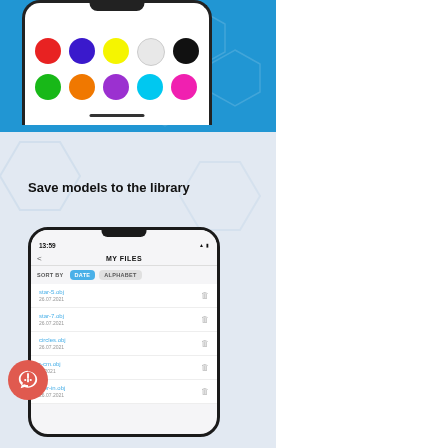[Figure (screenshot): Top portion of a smartphone screen showing a color picker with 10 colored dots arranged in two rows on a blue background. Row 1: red, purple, yellow, white, black. Row 2: green, orange, purple, cyan, pink/magenta.]
Save models to the library
[Figure (screenshot): Smartphone screen showing a 'MY FILES' screen with files listed: star-5.obj (26.07.2021), star-7.obj (26.07.2021), circles.obj (26.07.2021), -er-cm.obj (.7.2021), -uler-in.obj (26.07.2021). Sort by DATE or ALPHABET buttons shown.]